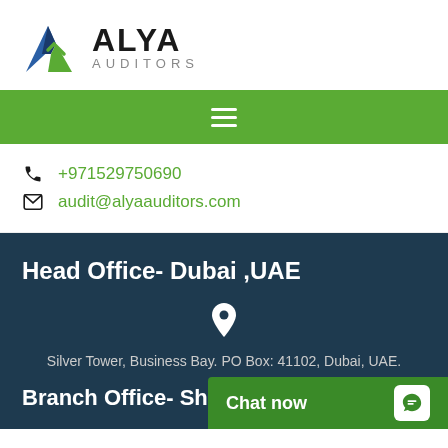[Figure (logo): Alya Auditors logo with mountain/A icon in blue and green, and text ALYA AUDITORS]
[Figure (infographic): Green navigation bar with hamburger menu icon]
+971529750690
audit@alyaauditors.com
Head Office- Dubai ,UAE
[Figure (infographic): Location pin icon]
Silver Tower, Business Bay. PO Box: 41102, Dubai, UAE.
Branch Office- Sharjah ,UAE
Chat now